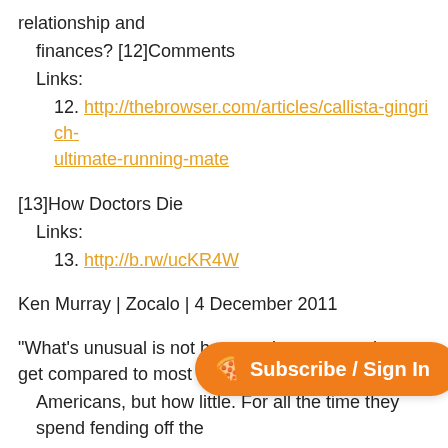relationship and finances? [12]Comments
Links:
12. http://thebrowser.com/articles/callista-gingrich-ultimate-running-mate
[13]How Doctors Die
Links:
13. http://b.rw/ucKR4W
Ken Murray | Zocalo | 4 December 2011
"What's unusual is not how much treatment they get compared to most Americans, but how little. For all the time they spend fending off the deaths of others, they tend faced with death